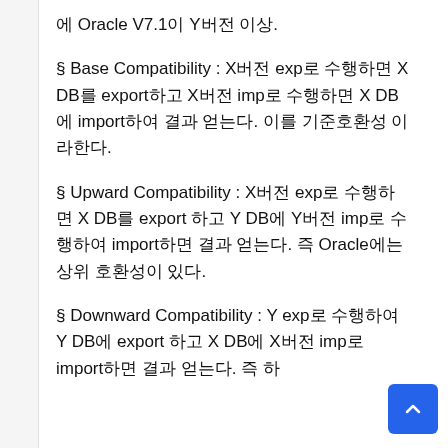에 Oracle V7.1이 Y버전 이상.
§ Base Compatibility : X버전 exp로 수행하면 X DB를 export하고 X버전 imp로 수행하면 X DB에 import하여 결과 얻는다. 이를 기준호환성 이라한다.
§ Upward Compatibility : X버전 exp로 수행하면 X DB를 export 하고 Y DB에 Y버전 imp로 수행하여 import하면 결과 얻는다. 즉 Oracle에는 상위 호환성이 있다.
§ Downward Compatibility : Y exp로 수행하여 Y DB에 export 하고 X DB에 X버전 imp로 import하면 결과 얻는다. 즉 하